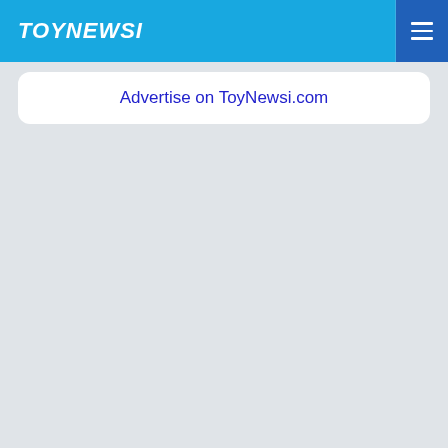TOYNEWSI
Advertise on ToyNewsi.com